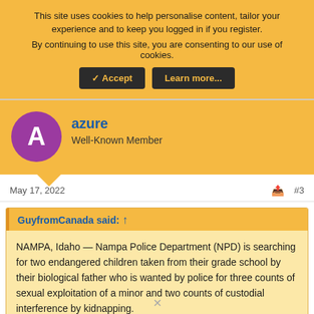This site uses cookies to help personalise content, tailor your experience and to keep you logged in if you register.
By continuing to use this site, you are consenting to our use of cookies.
Accept | Learn more...
azure
Well-Known Member
May 17, 2022
#3
GuyfromCanada said: ↑
NAMPA, Idaho — Nampa Police Department (NPD) is searching for two endangered children taken from their grade school by their biological father who is wanted by police for three counts of sexual exploitation of a minor and two counts of custodial interference by kidnapping.
✕